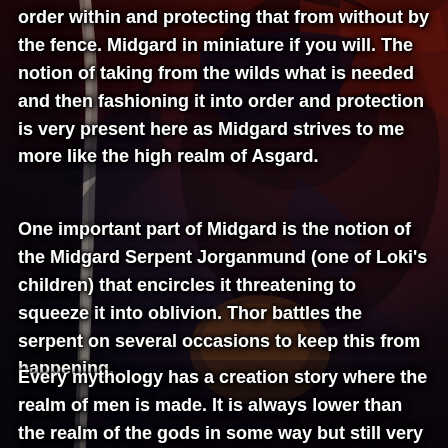[Figure (illustration): Dark fantasy illustration of a figure (likely Odin) with dark robes, long white braided staff or hair, dark hood, and red/dark moody atmospheric background suggesting Norse mythology artwork.]
order within and protecting that from without by the fence. Midgard in miniature if you will. The notion of taking from the wilds what is needed and then fashioning it into order and protection is very present here as Midgard strives to me more like the high realm of Asgard.
One important part of Midgard is the notion of the Midgard Serpent Jorganmund (one of Loki's children) that encircles it threatening to squeeze it into oblivion. Thor battles the serpent on several occasions to keep this from happening.
Every mythology has a creation story where the realm of men is made. It is always lower than the realm of the gods in some way but still very important. In Norse Mythology, it is the realm of